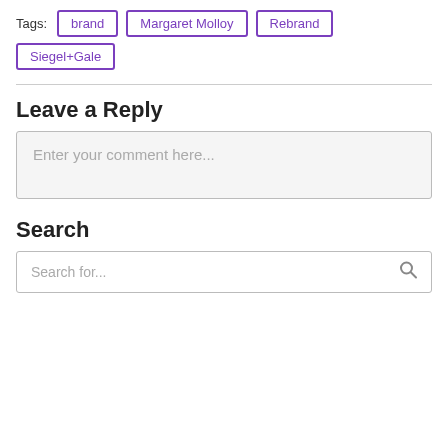Tags: brand  Margaret Molloy  Rebrand  Siegel+Gale
Leave a Reply
Enter your comment here...
Search
Search for...